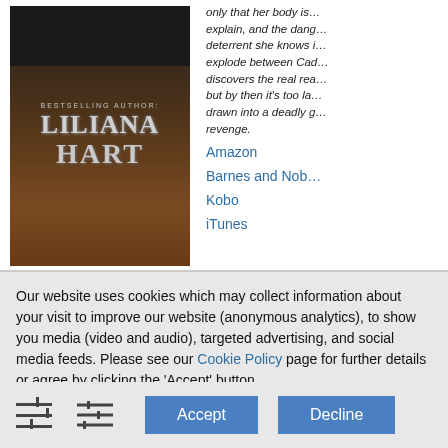[Figure (photo): Book cover for a novel by Liliana Hart with dark background showing hands and the author name in large silver text]
only that her body is… explain, and the dang… deterrent she knows it… explode between Cad… discovers the real rea… but by then it's too la… drawn into a deadly g… revenge.
Amazon
Barnes and Nob…
Kobo
iTunes
Our website uses cookies which may collect information about your visit to improve our website (anonymous analytics), to show you media (video and audio), targeted advertising, and social media feeds. Please see our Cookie Policy page for further details or agree by clicking the 'Accept' button.
Accept
Decline